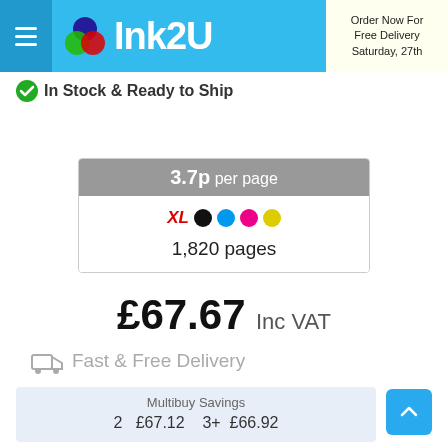Ink2U — Order Now For Free Delivery Saturday, 27th
In Stock & Ready to Ship
3.7p per page
XL — Black, Cyan, Magenta, Yellow — 1,820 pages
£67.67 Inc VAT
Fast & Free Delivery
| Multibuy Savings |  |
| --- | --- |
| 2 | £67.12 | 3+ | £66.92 |